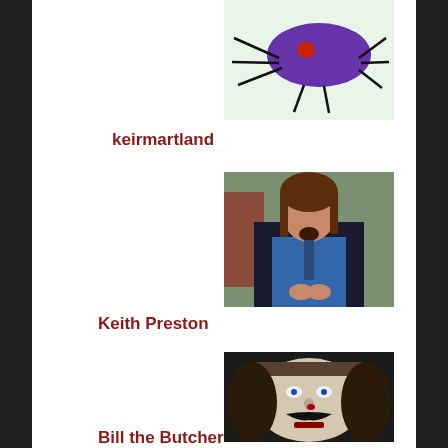[Figure (illustration): A hand-drawn cartoon spider or bug with a purple oval body and a red dot, with black stick legs, on a light green background]
keirmartland
[Figure (photo): A man with long brown hair and a goatee wearing a dark suit jacket and blue shirt, standing outdoors near brick steps and greenery]
Keith Preston
[Figure (illustration): A dark illustration or drawing of a man's face with a mustache, pale face paint, headband, and dramatic expression]
Bill the Butcher